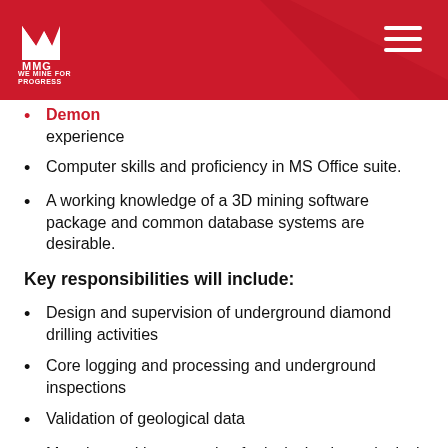MMG - WE MINE FOR PROGRESS
Demonstrated geology technology experience
Computer skills and proficiency in MS Office suite.
A working knowledge of a 3D mining software package and common database systems are desirable.
Key responsibilities will include:
Design and supervision of underground diamond drilling activities
Core logging and processing and underground inspections
Validation of geological data
Mapping and interpretation for inclusion in geological models
Developing and updating panel and stone